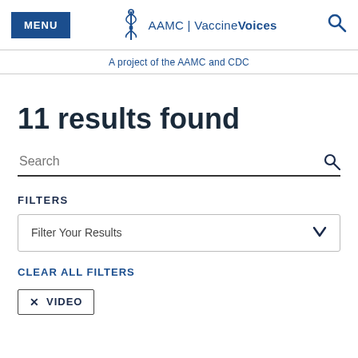MENU | AAMC | VaccineVoices | A project of the AAMC and CDC
11 results found
Search
FILTERS
Filter Your Results
CLEAR ALL FILTERS
× VIDEO